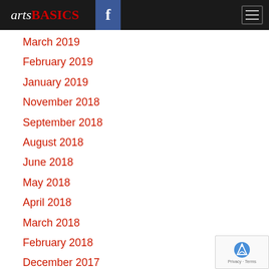arts BASICS
March 2019
February 2019
January 2019
November 2018
September 2018
August 2018
June 2018
May 2018
April 2018
March 2018
February 2018
December 2017
August 2017
July 2017